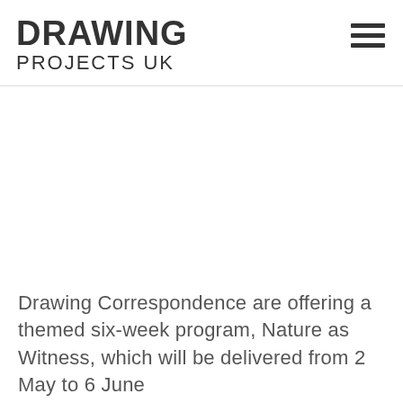DRAWING PROJECTS UK
[Figure (photo): Large white/blank image area below the header navigation bar]
Drawing Correspondence are offering a themed six-week program, Nature as Witness, which will be delivered from 2 May to 6 June